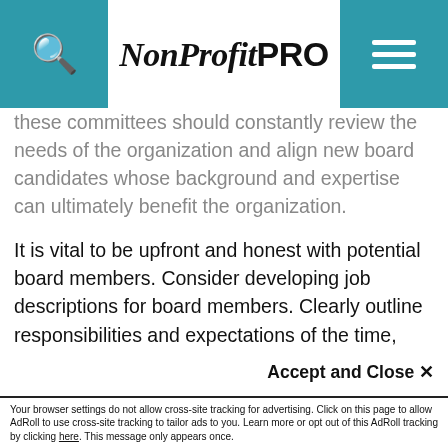NonProfit PRO
these committees should constantly review the needs of the organization and align new board candidates whose background and expertise can ultimately benefit the organization.
It is vital to be upfront and honest with potential board members. Consider developing job descriptions for board members. Clearly outline responsibilities and expectations of the time,
This site uses cookies for tracking purposes. By continuing to browse our website, you agree to the storing of first- and third-party cookies on your device to enhance site navigation, analyze site usage, and assist in our marketing and
Accept and Close ✕
Your browser settings do not allow cross-site tracking for advertising. Click on this page to allow AdRoll to use cross-site tracking to tailor ads to you. Learn more or opt out of this AdRoll tracking by clicking here. This message only appears once.